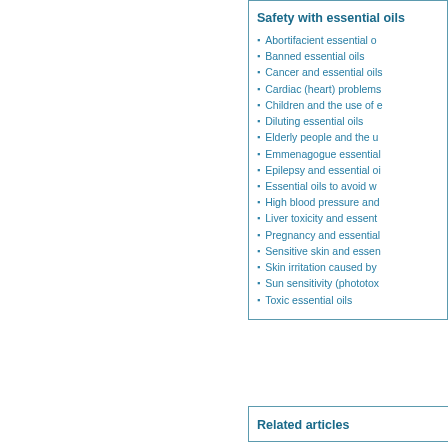Safety with essential oils
Abortifacient essential o...
Banned essential oils
Cancer and essential oils
Cardiac (heart) problems
Children and the use of e...
Diluting essential oils
Elderly people and the u...
Emmenagogue essential ...
Epilepsy and essential oi...
Essential oils to avoid w...
High blood pressure and ...
Liver toxicity and essent...
Pregnancy and essential ...
Sensitive skin and essen...
Skin irritation caused by...
Sun sensitivity (phototox...
Toxic essential oils
Related articles